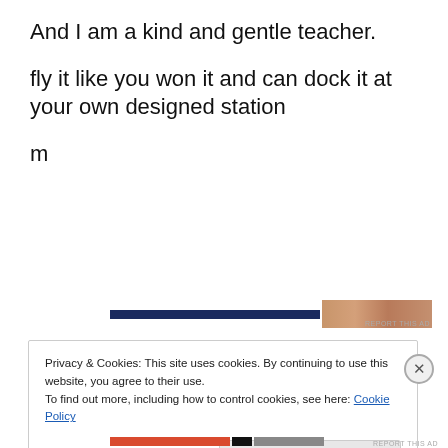And I am a kind and gentle teacher.
fly it like you won it and can dock it at your own designed station
m
[Figure (other): Advertisement banner with dark navy blue bar and skin-tone image strip, with 'REPORT THIS AD' text]
Privacy & Cookies: This site uses cookies. By continuing to use this website, you agree to their use.
To find out more, including how to control cookies, see here: Cookie Policy
Close and accept
[Figure (other): Advertisement banner at bottom with red, black, and gray color strips, with 'REPORT THIS AD' text]